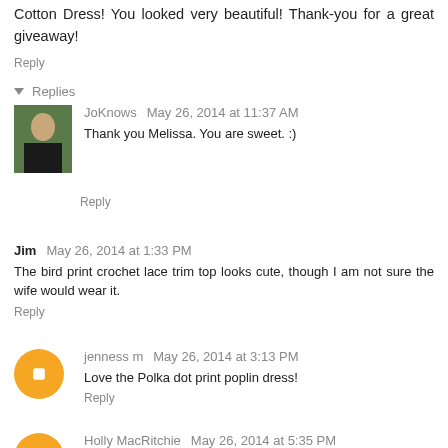Cotton Dress! You looked very beautiful! Thank-you for a great giveaway!
Reply
Replies
JoKnows   May 26, 2014 at 11:37 AM
Thank you Melissa. You are sweet. :)
Reply
Jim   May 26, 2014 at 1:33 PM
The bird print crochet lace trim top looks cute, though I am not sure the wife would wear it.
Reply
jenness m   May 26, 2014 at 3:13 PM
Love the Polka dot print poplin dress!
Reply
Holly MacRitchie   May 26, 2014 at 5:35 PM